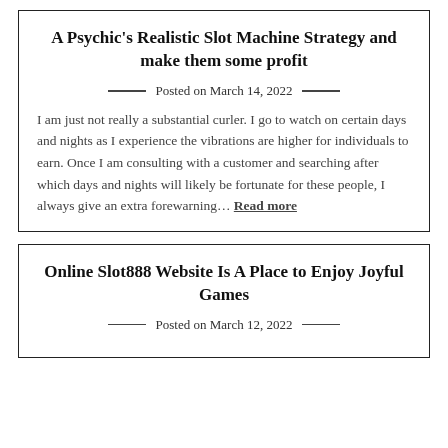A Psychic's Realistic Slot Machine Strategy and make them some profit
Posted on March 14, 2022
I am just not really a substantial curler. I go to watch on certain days and nights as I experience the vibrations are higher for individuals to earn. Once I am consulting with a customer and searching after which days and nights will likely be fortunate for these people, I always give an extra forewarning… Read more
Online Slot888 Website Is A Place to Enjoy Joyful Games
Posted on March 12, 2022